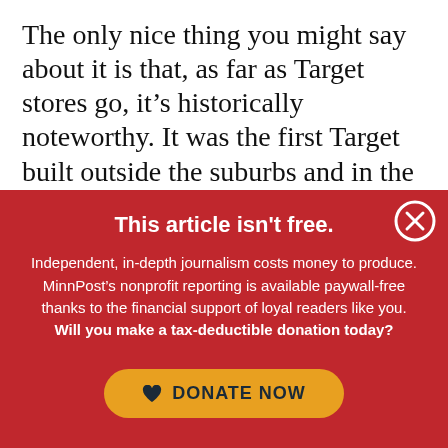The only nice thing you might say about it is that, as far as Target stores go, it's historically noteworthy. It was the first Target built outside the suburbs and in the city, in 1976. You wouldn't know it from walking past, though, as
This article isn't free.
Independent, in-depth journalism costs money to produce. MinnPost's nonprofit reporting is available paywall-free thanks to the financial support of loyal readers like you. Will you make a tax-deductible donation today?
[Figure (other): Yellow rounded-rectangle donate button with heart icon and text DONATE NOW in dark navy]